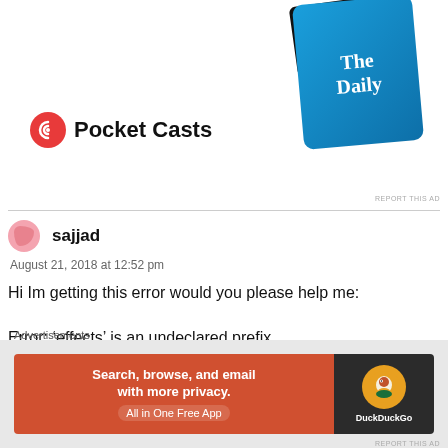[Figure (screenshot): Pocket Casts advertisement with logo and podcast artwork cards including '99% Invisible' and 'The Daily']
REPORT THIS AD
sajjad
August 21, 2018 at 12:52 pm
Hi Im getting this error would you please help me:

Error: ‘effects’ is an undeclared prefix
★ Like
Advertisements
[Figure (screenshot): DuckDuckGo advertisement: Search, browse, and email with more privacy. All in One Free App]